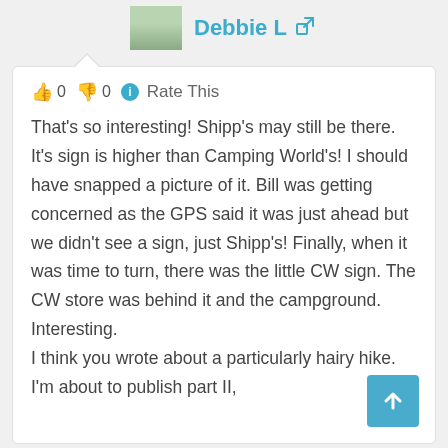Debbie L
👍 0 👎 0 ℹ Rate This
That's so interesting! Shipp's may still be there. It's sign is higher than Camping World's! I should have snapped a picture of it. Bill was getting concerned as the GPS said it was just ahead but we didn't see a sign, just Shipp's! Finally, when it was time to turn, there was the little CW sign. The CW store was behind it and the campground. Interesting.
I think you wrote about a particularly hairy hike. I'm about to publish part II,